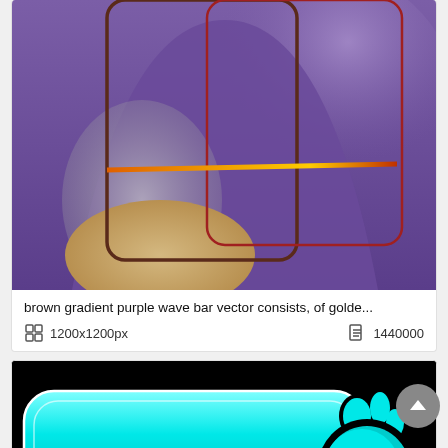[Figure (illustration): Abstract vector art with purple wave shapes, brown/dark red rounded rectangle outlines, a gray ellipse on left, a beige/tan oval shape at bottom left, and a horizontal orange-to-red gradient bar crossing the middle.]
brown gradient purple wave bar vector consists, of golde...
1200x1200px
1440000
[Figure (illustration): Black background with a cyan/turquoise glowing rounded rectangle button shape on the left and a cyan flame/creature shape with black outline on the right.]